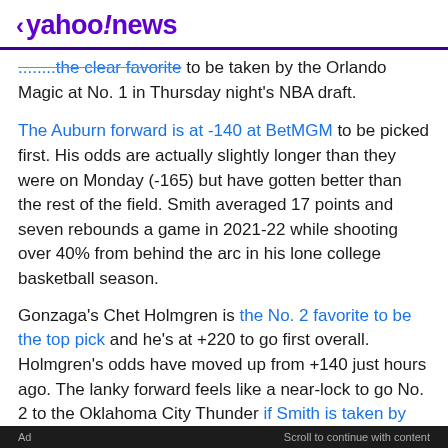< yahoo!news
... is the clear favorite to be taken by the Orlando Magic at No. 1 in Thursday night's NBA draft.
The Auburn forward is at -140 at BetMGM to be picked first. His odds are actually slightly longer than they were on Monday (-165) but have gotten better than the rest of the field. Smith averaged 17 points and seven rebounds a game in 2021-22 while shooting over 40% from behind the arc in his lone college basketball season.
Gonzaga's Chet Holmgren is the No. 2 favorite to be the top pick and he's at +220 to go first overall. Holmgren's odds have moved up from +140 just hours ago. The lanky forward feels like a near-lock to go No. 2 to the Oklahoma City Thunder if Smith is taken by the Orlando Magic like most believe.
Ad    Scroll to continue with content